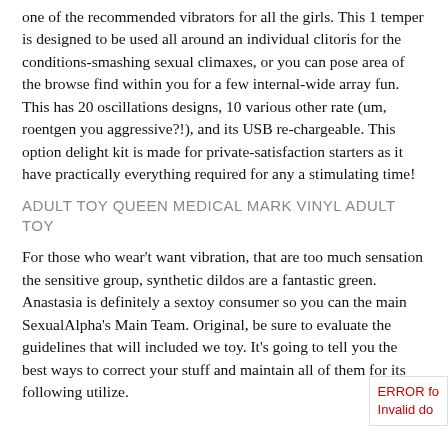one of the recommended vibrators for all the girls. This 1 temper is designed to be used all around an individual clitoris for the conditions-smashing sexual climaxes, or you can pose area of the browse find within you for a few internal-wide array fun. This has 20 oscillations designs, 10 various other rate (um, roentgen you aggressive?!), and its USB re-chargeable. This option delight kit is made for private-satisfaction starters as it have practically everything required for any a stimulating time!
ADULT TOY QUEEN MEDICAL MARK VINYL ADULT TOY
For those who wear't want vibration, that are too much sensation the sensitive group, synthetic dildos are a fantastic green. Anastasia is definitely a sextoy consumer so you can the main SexualAlpha's Main Team. Original, be sure to evaluate the guidelines that will included we toy. It's going to tell you the best ways to correct your stuff and maintain all of them for its following utilize.